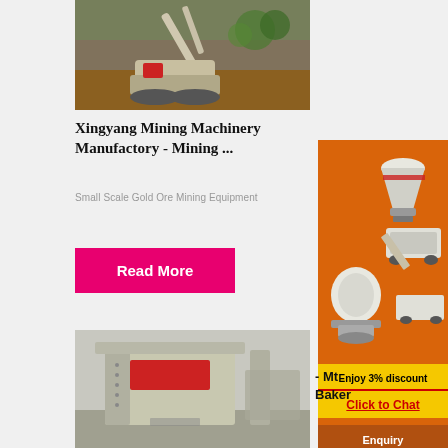[Figure (photo): Mining machinery / excavator equipment outdoors on dirt terrain]
Xingyang Mining Machinery Manufactory - Mining ...
Small Scale Gold Ore Mining Equipment
Read More
[Figure (photo): Industrial mining impact crusher machine inside a factory]
[Figure (infographic): Orange advertisement banner showing mining crushing machinery with text: Enjoy 3% discount, Click to Chat]
Enquiry
limingjlmofen@sina.com
- Mt
Baker